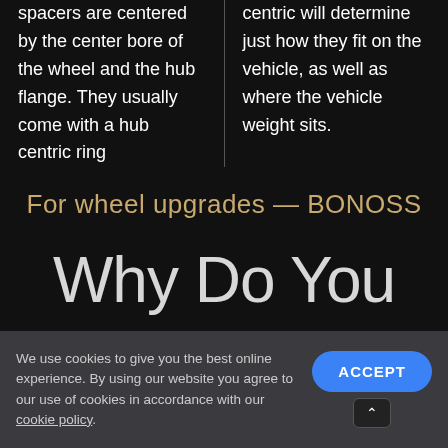spacers are centered by the center bore of the wheel and the hub flange. They usually come with a hub centric ring
centric will determine just how they fit on the vehicle, as well as where the vehicle weight sits.
For wheel upgrades — BONOSS
Why Do You
We use cookies to give you the best online experience. By using our website you agree to our use of cookies in accordance with our cookie policy.